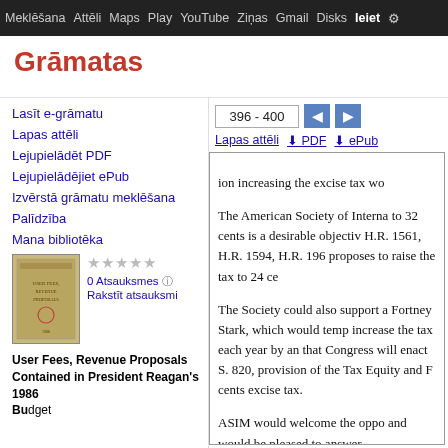Meklēšana  Attēli  Maps  Play  YouTube  Ziņas  Gmail  Disks  Ieiet  ⚙
Grāmatas
396 - 400
Lapas attēli
PDF
ePub
Lasīt e-grāmatu
Lapas attēli
Lejupielādēt PDF
Lejupielādējiet ePub
Izvērstā grāmatu meklēšana
Palīdzība
Mana bibliotēka
[Figure (illustration): Book cover thumbnail for User Fees, Revenue Proposals Contained in President Reagan's 1986 Budget]
0 Atsauksmes
Rakstīt atsauksmi
User Fees, Revenue Proposals Contained in President Reagan's 1986 Budget
ion increasing the excise tax wo

The American Society of Interna to 32 cents is a desirable objectiv H.R. 1561, H.R. 1594, H.R. 196 proposes to raise the tax to 24 ce

The Society could also support a Fortney Stark, which would temp increase the tax each year by an that Congress will enact S. 820, provision of the Tax Equity and F cents excise tax.

ASIM would welcome the oppo and would be pleased to answer